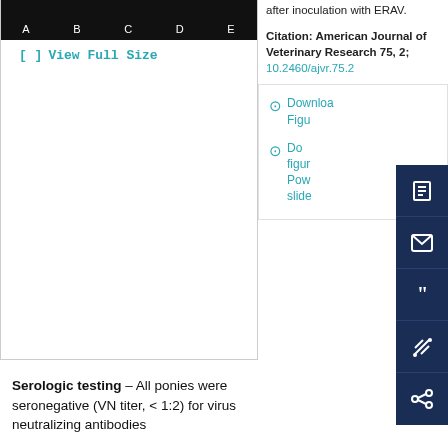[Figure (photo): Scientific figure showing panel labels A, B, C, D, E on a dark background, partially visible at top of page. View Full Size link below.]
[ ] View Full Size
after inoculation with ERAV.
Citation: American Journal of Veterinary Research 75, 2; 10.2460/ajvr.75.2...
Download Figure

Download figure as PowerPoint slide
Serologic testing – All ponies were seronegative (VN titer, < 1:2) for virus neutralizing antibodies